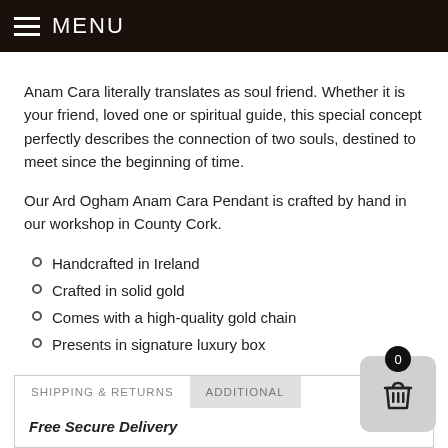MENU
Anam Cara literally translates as soul friend. Whether it is your friend, loved one or spiritual guide, this special concept perfectly describes the connection of two souls, destined to meet since the beginning of time.
Our Ard Ogham Anam Cara Pendant is crafted by hand in our workshop in County Cork.
Handcrafted in Ireland
Crafted in solid gold
Comes with a high-quality gold chain
Presents in signature luxury box
SHIPPING & RETURNS    ADDITIONAL
Free Secure Delivery